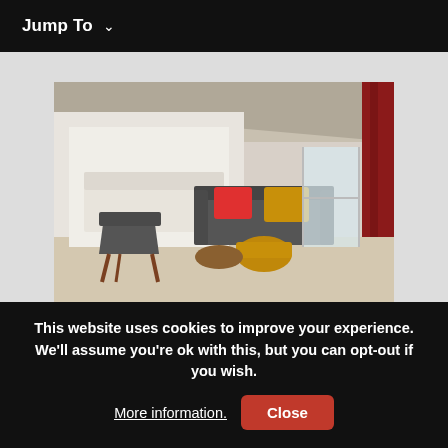Jump To  ∨
[Figure (photo): Interior of a modern luxury hotel room with a sofa featuring red and yellow cushions, armchairs, a coffee table, a bed in the background, and red curtains on the right.]
This luxury hotel is ideally located in the old town, very close to the Barrio del Carmen. Barrio del Carmen is one of the hippest neighborhoods in Valencia and is full of delicious restaurants and popping bars. However, if you are
This website uses cookies to improve your experience. We'll assume you're ok with this, but you can opt-out if you wish. More information. Close